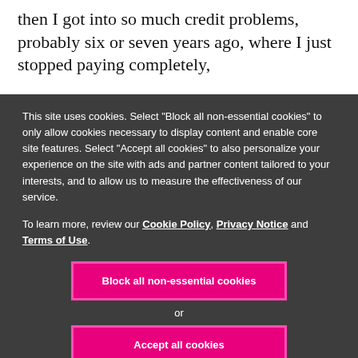then I got into so much credit problems, probably six or seven years ago, where I just stopped paying completely,
This site uses cookies. Select "Block all non-essential cookies" to only allow cookies necessary to display content and enable core site features. Select "Accept all cookies" to also personalize your experience on the site with ads and partner content tailored to your interests, and to allow us to measure the effectiveness of our service.
To learn more, review our Cookie Policy, Privacy Notice and Terms of Use.
Block all non-essential cookies
or
Accept all cookies